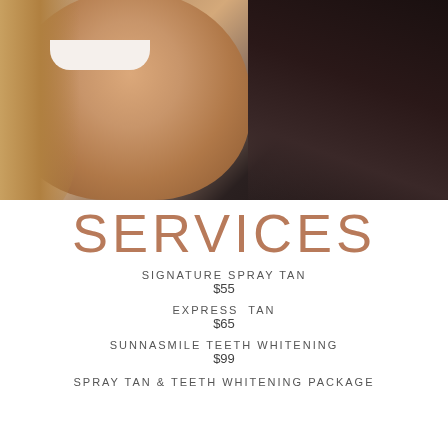[Figure (photo): Two smiling women — one blonde, one brunette — photographed from chin up against a dark background. The blonde woman is smiling showing white teeth.]
SERVICES
SIGNATURE SPRAY TAN
$55
EXPRESS  TAN
$65
SUNNASMILE TEETH WHITENING
$99
SPRAY TAN & TEETH WHITENING PACKAGE